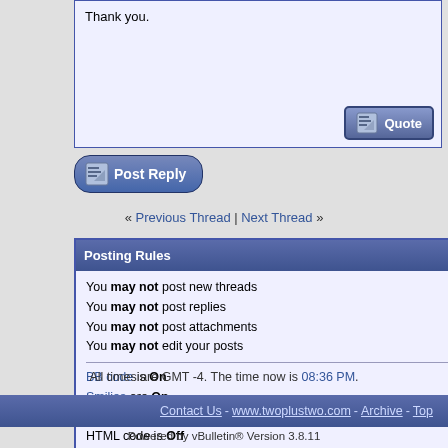Thank you.
[Figure (screenshot): Post Reply button with pencil/paper icon, blue pill-shaped button]
« Previous Thread | Next Thread »
| Posting Rules |
| --- |
| You may not post new threads |
| You may not post replies |
| You may not post attachments |
| You may not edit your posts |
| BB code is On |
| Smilies are On |
| [IMG] code is On |
| HTML code is Off |
| Forum Rules |
Forum Jump
Probability
All times are GMT -4. The time now is 08:36 PM.
Contact Us - www.twoplustwo.com - Archive - Top
Powered by vBulletin® Version 3.8.11
Copyright ©2000 - 2022, vBulletin Solutions Inc.